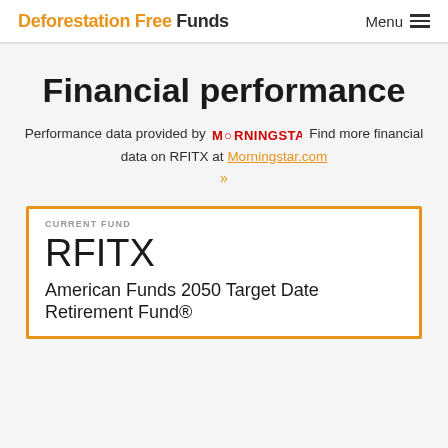Deforestation Free Funds  Menu
Financial performance
Performance data provided by MORNINGSTAR Find more financial data on RFITX at Morningstar.com »
CURRENT FUND
RFITX
American Funds 2050 Target Date Retirement Fund®